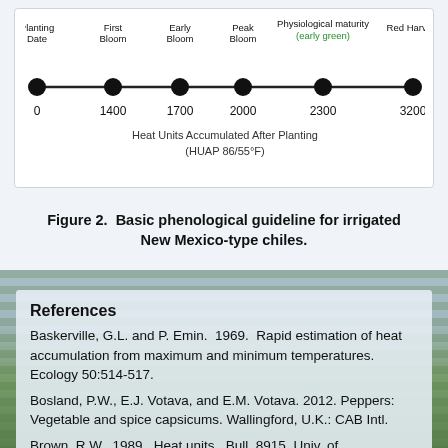[Figure (infographic): Timeline diagram showing heat units accumulated after planting for irrigated New Mexico-type chiles. Points: Planting Date=0, First Bloom=1400, Early Bloom=1700, Peak Bloom=2000, Physiological maturity (early green)=2300, Red Harvest=3200. X-axis label: Heat Units Accumulated After Planting (HUAP 86/55°F).]
Figure 2.  Basic phenological guideline for irrigated New Mexico-type chiles.
References
Baskerville, G.L. and P. Emin.  1969.  Rapid estimation of heat accumulation from maximum and minimum temperatures. Ecology 50:514-517.
Bosland, P.W., E.J. Votava, and E.M. Votava. 2012. Peppers: Vegetable and spice capsicums. Wallingford, U.K.: CAB Intl.
Brown, R.W. 1989. Heat units. Bull. 8915. Univ. of